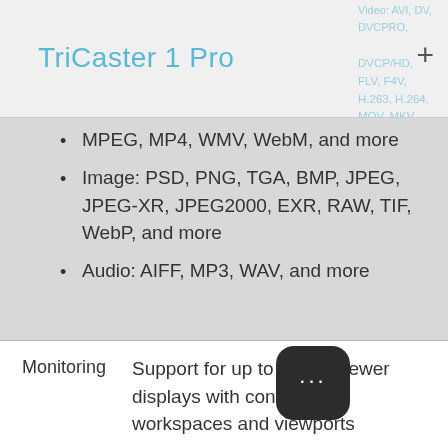TriCaster 1 Pro
MPEG, MP4, WMV, WebM, and more
Image: PSD, PNG, TGA, BMP, JPEG, JPEG-XR, JPEG2000, EXR, RAW, TIF, WebP, and more
Audio: AIFF, MP3, WAV, and more
| Feature | Description |
| --- | --- |
| Monitoring | Support for up to 3 multiviewer displays with configurable workspaces and viewports |
| Signal Monitoring | Integrated waveform monitor, vectorscope, full field rate with digital calibration, color preview and support |